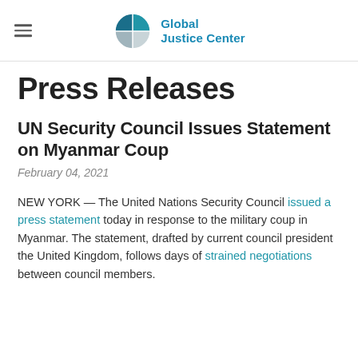Global Justice Center
Press Releases
UN Security Council Issues Statement on Myanmar Coup
February 04, 2021
NEW YORK — The United Nations Security Council issued a press statement today in response to the military coup in Myanmar. The statement, drafted by current council president the United Kingdom, follows days of strained negotiations between council members.